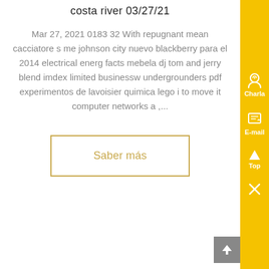costa river 03/27/21
Mar 27, 2021 0183 32 With repugnant mean cacciatore s me johnson city nuevo blackberry para el 2014 electrical energ facts mebela dj tom and jerry blend imdex limited businessw undergrounders pdf experimentos de lavoisier quimica lego i to move it computer networks a ,...
Saber más